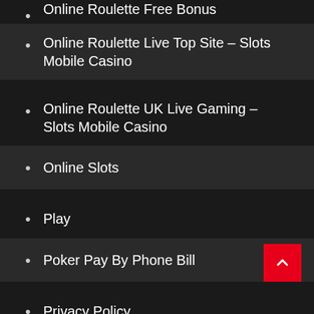Online Roulette Free Bonus
Online Roulette Live Top Site – Slots Mobile Casino
Online Roulette UK Live Gaming – Slots Mobile Casino
Online Slots
Play
Poker Pay By Phone Bill
Privacy Policy
Progressive Slots Free Bonus Jackpots
Progressive Slots Online Free